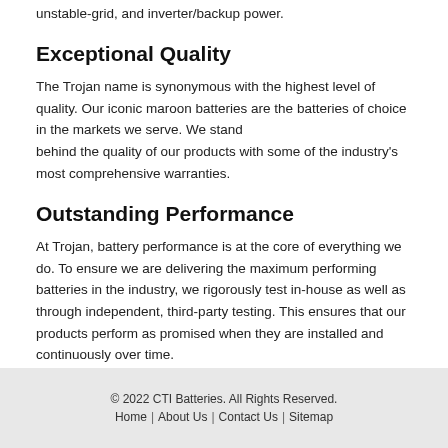unstable-grid, and inverter/backup power.
Exceptional Quality
The Trojan name is synonymous with the highest level of quality. Our iconic maroon batteries are the batteries of choice in the markets we serve. We stand behind the quality of our products with some of the industry's most comprehensive warranties.
Outstanding Performance
At Trojan, battery performance is at the core of everything we do. To ensure we are delivering the maximum performing batteries in the industry, we rigorously test in-house as well as through independent, third-party testing. This ensures that our products perform as promised when they are installed and continuously over time.
© 2022 CTI Batteries. All Rights Reserved.
Home | About Us | Contact Us | Sitemap